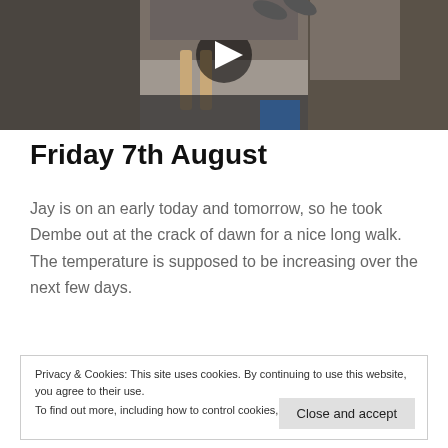[Figure (screenshot): Video thumbnail showing a dog standing on a rug with a play button overlay]
Friday 7th August
Jay is on an early today and tomorrow, so he took Dembe out at the crack of dawn for a nice long walk. The temperature is supposed to be increasing over the next few days.
Privacy & Cookies: This site uses cookies. By continuing to use this website, you agree to their use.
To find out more, including how to control cookies, see here: Cookie Policy
Close and accept